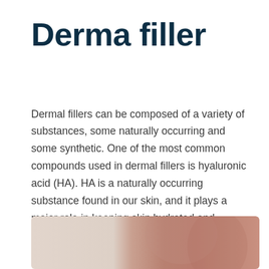Derma filler
Dermal fillers can be composed of a variety of substances, some naturally occurring and some synthetic. One of the most common compounds used in dermal fillers is hyaluronic acid (HA). HA is a naturally occurring substance found in our skin, and it plays a major role in keeping skin hydrated and volumized
[Figure (photo): Close-up photo of a person's face/neck skin, showing smooth skin texture relevant to dermal filler content]